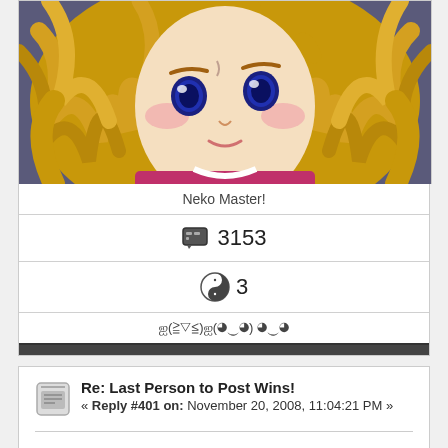[Figure (illustration): Anime character with golden/blonde curly hair and blue eyes, close-up face with blush marks on cheeks, pink/magenta outfit visible at bottom]
Neko Master!
💬 3153
☯ 3
ஐ(≧▽≦)ஐ(◕‿◕) ◕‿◕
Re: Last Person to Post Wins!
« Reply #401 on: November 20, 2008, 11:04:21 PM »
Black Death you should trust me because...um...cause I say so?